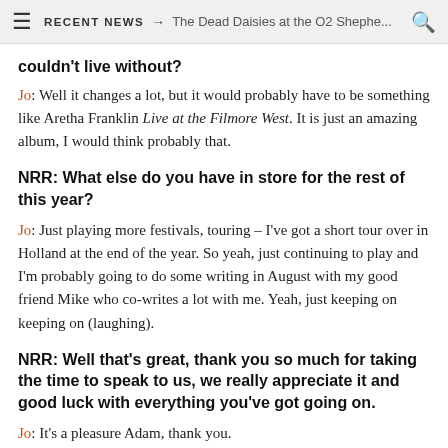RECENT NEWS → The Dead Daisies at the O2 Shephe...
couldn't live without?
Jo: Well it changes a lot, but it would probably have to be something like Aretha Franklin Live at the Filmore West. It is just an amazing album, I would think probably that.
NRR: What else do you have in store for the rest of this year?
Jo: Just playing more festivals, touring – I've got a short tour over in Holland at the end of the year. So yeah, just continuing to play and I'm probably going to do some writing in August with my good friend Mike who co-writes a lot with me. Yeah, just keeping on keeping on (laughing).
NRR: Well that's great, thank you so much for taking the time to speak to us, we really appreciate it and good luck with everything you've got going on.
Jo: It's a pleasure Adam, thank you.
Jo Harman will be performing at the Great British Rhythm and Blues Festival in Colne at The Muni on Saturday 26th August